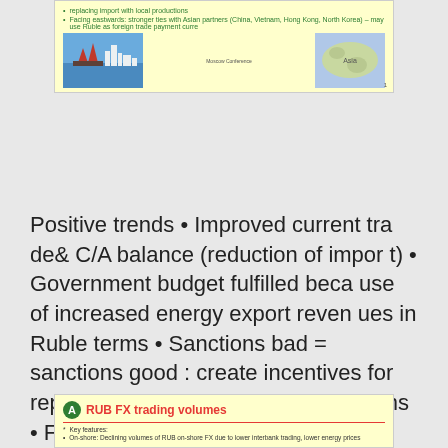[Figure (screenshot): Top portion of a presentation slide with yellow background. Shows bullet points about facing eastwards and stronger ties with Asian partners (China, Vietnam, Hong Kong, North Korea) – may use Ruble as foreign trade payment currency. Contains two images: a harbor photo and a map of Asia. Shows 'Moscow Conference' label and page number 1.]
Positive trends • Improved current trade& C/A balance (reduction of import) • Government budget fulfilled because of increased energy export revenues in Ruble terms • Sanctions bad = sanctions good : create incentives for replacing import with local productions • Facing eastwards: stronger ties with Asian partners (China, Vietnam, Hong Kong, North Korea) – may use Ruble as foreign trade payment currency Moscow, 20 November 2014 Moscow Conference
[Figure (screenshot): Bottom portion of a presentation slide with yellow background. Title: 'RUB FX trading volumes' in red with a green circular logo/icon. Divider line. Key features bullet. Bullet: On-shore: Declining volumes of RUB on-shore FX due to lower interbank trading, lower energy prices.]